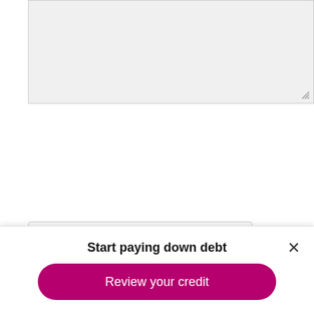[Figure (screenshot): A grey textarea input field with a resize handle at the bottom right corner]
[Figure (screenshot): reCAPTCHA widget with checkbox labeled 'I'm not a robot' and the reCAPTCHA logo with Privacy and Terms links]
[Figure (screenshot): A blue 'Submit' button]
The purpose of this question submission tool is to provide general
Start paying down debt
[Figure (screenshot): A magenta/pink rounded button labeled 'Review your credit']